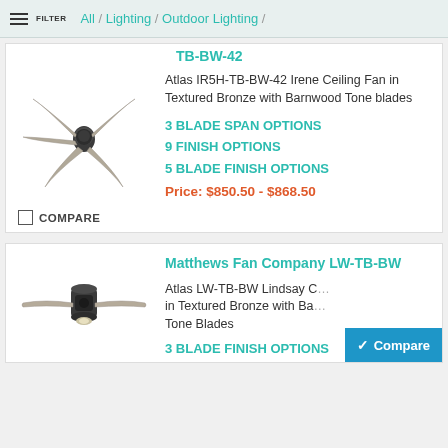FILTER  All / Lighting / Outdoor Lighting /
TB-BW-42
[Figure (photo): Ceiling fan with 5 blades in dark bronze/barnwood finish, hugging-mount style, viewed from below at an angle]
Atlas IR5H-TB-BW-42 Irene Ceiling Fan in Textured Bronze with Barnwood Tone blades
3 BLADE SPAN OPTIONS
9 FINISH OPTIONS
5 BLADE FINISH OPTIONS
Price: $850.50 - $868.50
COMPARE
Matthews Fan Company LW-TB-BW
[Figure (photo): Ceiling fan with 2 long curved blades in barnwood tone and dark bronze motor, low-profile mount, viewed from below]
Atlas LW-TB-BW Lindsay C... in Textured Bronze with Ba... Tone Blades
3 BLADE FINISH OPTIONS
Compare